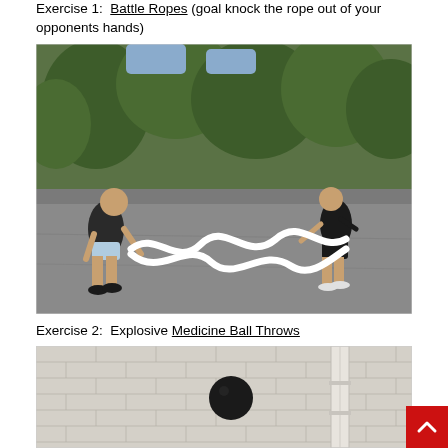Exercise 1:  Battle Ropes (goal knock the rope out of your opponents hands)
[Figure (photo): Two people outdoors on a pavement area using battle ropes, facing each other. The ropes form wave patterns between them. Trees visible in the background.]
Exercise 2:  Explosive Medicine Ball Throws
[Figure (photo): A medicine ball against a light-colored brick wall with a vertical pipe/column. The ball is dark/black and positioned mid-wall.]